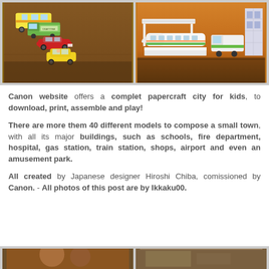[Figure (photo): Two photos side by side: left photo shows paper craft toy cars and trucks (colorful buses, trucks, a red car, yellow convertible) lined up on a brown wooden table; right photo shows a white paper bullet train and station platform models on a brown wooden surface.]
Canon website offers a complet papercraft city for kids, to download, print, assemble and play!

There are more them 40 different models to compose a small town, with all its major buildings, such as schools, fire department, hospital, gas station, train station, shops, airport and even an amusement park.

All created by Japanese designer Hiroshi Chiba, comissioned by Canon. - All photos of this post are by Ikkaku00.
[Figure (photo): Two photos side by side at the bottom (partially visible): left shows people/scene in warm tones, right shows another scene.]